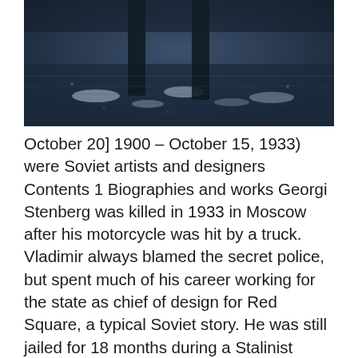[Figure (photo): Black and white photograph showing what appears to be a dark, textured surface with some white/light splashes or water, with dark vertical shapes visible at the top]
October 20] 1900 – October 15, 1933) were Soviet artists and designers Contents 1 Biographies and works Georgi Stenberg was killed in 1933 in Moscow after his motorcycle was hit by a truck. Vladimir always blamed the secret police, but spent much of his career working for the state as chief of design for Red Square, a typical Soviet story. He was still jailed for 18 months during a Stalinist purge in the 1950's. Georgii and Vladimir Stenberg were graphic designers from Moscow who produced film posters for the Soviet Union during the 1920's.
Kalksten mursten
Since 2012 the record price for this artist at auction